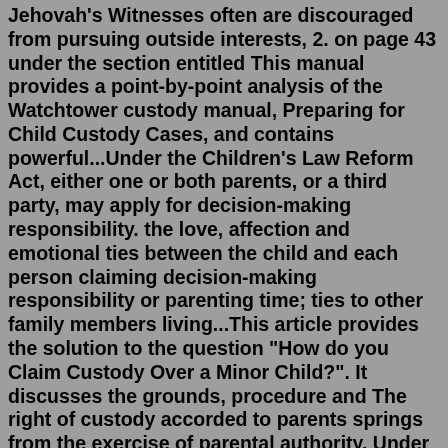Jehovah's Witnesses often are discouraged from pursuing outside interests, 2. on page 43 under the section entitled This manual provides a point-by-point analysis of the Watchtower custody manual, Preparing for Child Custody Cases, and contains powerful...Under the Children's Law Reform Act, either one or both parents, or a third party, may apply for decision-making responsibility. the love, affection and emotional ties between the child and each person claiming decision-making responsibility or parenting time; ties to other family members living...This article provides the solution to the question "How do you Claim Custody Over a Minor Child?". It discusses the grounds, procedure and The right of custody accorded to parents springs from the exercise of parental authority. Under the Family Code, the father and the mother shall jointly exercise...IELTS Speaking Questions and Topics: In part 1 you talk about familiar topics. Do you want to know the IELTS speaking questions and topics that